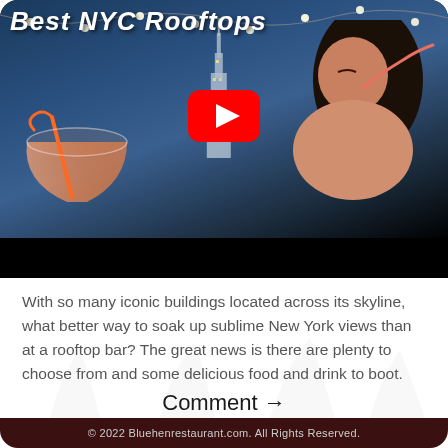[Figure (screenshot): YouTube video thumbnail showing a woman drinking a cocktail at a NYC rooftop bar at dusk, with a city skyline behind her. String lights overhead. A red YouTube play button is centered on the image. Title text 'Best NYC Rooftops' appears at the top in bold white italic font.]
With so many iconic buildings located across its skyline, what better way to soak up sublime New York views than at a rooftop bar? The great news is there are plenty to choose from and some delicious food and drink to boot.
Comment →
© 2022 Bluehenrestaurant.com. All Rights Reserved.